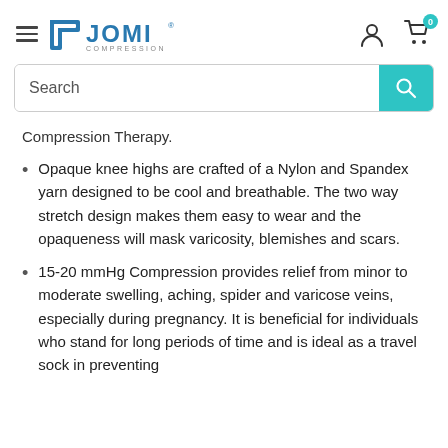JOMI COMPRESSION — navigation header with hamburger menu, logo, user icon, and cart icon (0)
Search
Compression Therapy.
Opaque knee highs are crafted of a Nylon and Spandex yarn designed to be cool and breathable. The two way stretch design makes them easy to wear and the opaqueness will mask varicosity, blemishes and scars.
15-20 mmHg Compression provides relief from minor to moderate swelling, aching, spider and varicose veins, especially during pregnancy. It is beneficial for individuals who stand for long periods of time and is ideal as a travel sock in preventing